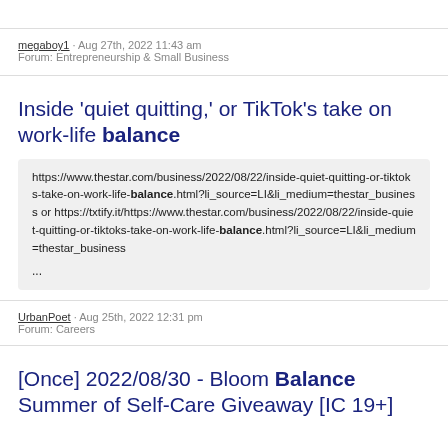megaboy1 · Aug 27th, 2022 11:43 am
Forum: Entrepreneurship & Small Business
Inside 'quiet quitting,' or TikTok's take on work-life balance
https://www.thestar.com/business/2022/08/22/inside-quiet-quitting-or-tiktoks-take-on-work-life-balance.html?li_source=LI&li_medium=thestar_business or https://txtify.it/https://www.thestar.com/business/2022/08/22/inside-quiet-quitting-or-tiktoks-take-on-work-life-balance.html?li_source=LI&li_medium=thestar_business
...
UrbanPoet · Aug 25th, 2022 12:31 pm
Forum: Careers
[Once] 2022/08/30 - Bloom Balance Summer of Self-Care Giveaway [IC 19+]